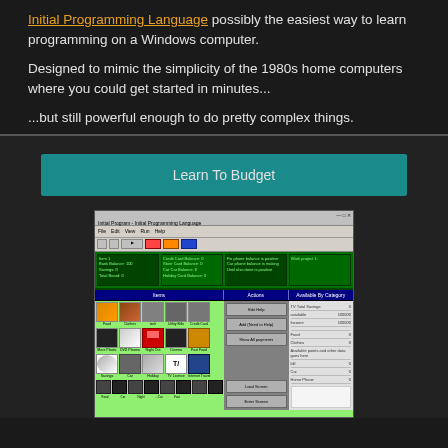Initial Programming Language possibly the easiest way to learn programming on a Windows computer.

Designed to mimic the simplicity of the 1980s home computers where you could get started in minutes...

...but still powerful enough to do pretty complex things.
Learn To Budget
[Figure (screenshot): Screenshot of Initial Programming Language software showing a budget application with green panels, category icons, and data panels]